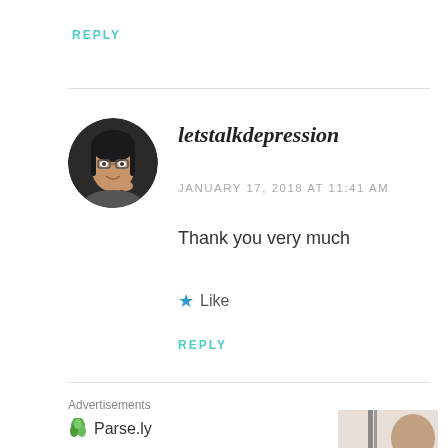REPLY
[Figure (photo): Circular avatar photo of a woman with glasses, smiling]
letstalkdepression
JANUARY 17, 2018 AT 11:41 AM
Thank you very much
★ Like
REPLY
Advertisements
[Figure (logo): Parse.ly logo with green leaf icon]